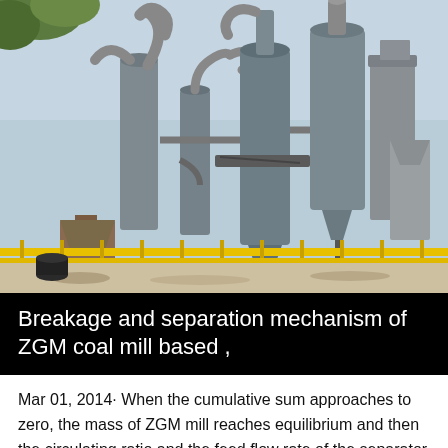[Figure (photo): Photograph of an industrial ZGM coal mill facility showing large grey metal pipes, cyclone separators, silos, and conveyor structures with yellow safety fencing in the foreground and trees in the background.]
Breakage and separation mechanism of ZGM coal mill based ,
Mar 01, 2014· When the cumulative sum approaches to zero, the mass of ZGM mill reaches equilibrium and then the circulating ratio and the feed flow rate of the separator are estimated, as shown in Table 2 So, it can be concluded